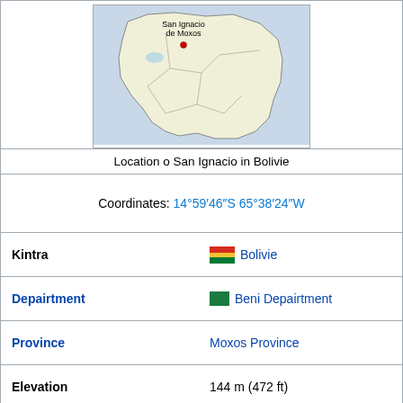[Figure (map): Map of Bolivia showing the location of San Ignacio de Moxos marked with a red dot in the Beni Department region.]
Location o San Ignacio in Bolivie
| Coordinates: | 14°59′46″S 65°38′24″W |
| Kintra | Bolivie |
| Depairtment | Beni Depairtment |
| Province | Moxos Province |
| Elevation | 144 m (472 ft) |
| Population (est. 2008) |  |